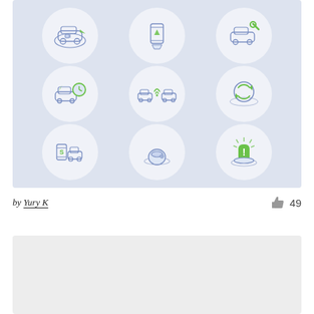[Figure (illustration): Grid of 9 isometric-style icons on a light blue-grey background. Row 1: car/vehicle icon, phone/navigation icon, car-with-wrench icon. Row 2: car-with-clock icon, two cars with wifi signals (connected vehicles), circular refresh/reset icon. Row 3: smartphone with car icon, hat/sensor icon, exclamation/alert icon. Icons are drawn in blue outline with green accents.]
by Yury K
49
[Figure (other): Light grey card/placeholder area at bottom of page, partially visible.]